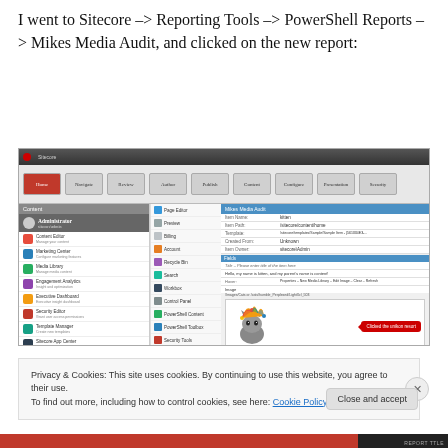I went to Sitecore –> Reporting Tools –> PowerShell Reports –> Mikes Media Audit, and clicked on the new report:
[Figure (screenshot): Screenshot of Sitecore CMS interface showing the PowerShell Reports / Mikes Media Audit report, with a red callout bubble saying 'Clicked the unikon resort'. At the bottom a cookie consent banner is visible with a 'Close and accept' button.]